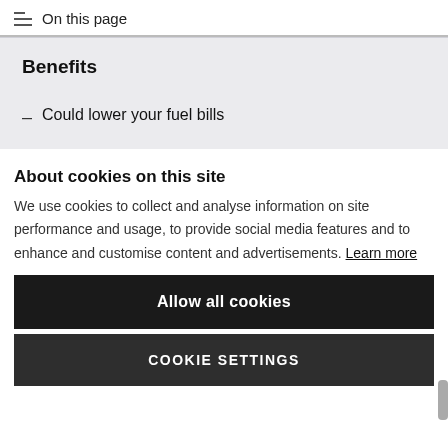On this page
Benefits
Could lower your fuel bills
About cookies on this site
We use cookies to collect and analyse information on site performance and usage, to provide social media features and to enhance and customise content and advertisements. Learn more
Allow all cookies
COOKIE SETTINGS